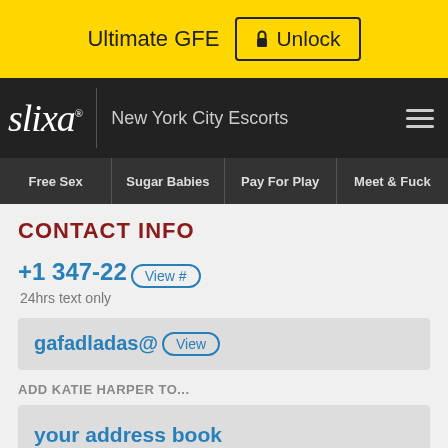Ultimate GFE  🔒 Unlock
[Figure (screenshot): Slixa website navigation bar showing logo, New York City Escorts text, and hamburger menu]
Free Sex  Sugar Babies  Pay For Play  Meet & Fuck
CONTACT INFO
+1 347-22  View #
24hrs text only
gafadladas@  View
ADD KATIE HARPER TO...
your address book
Report this profile